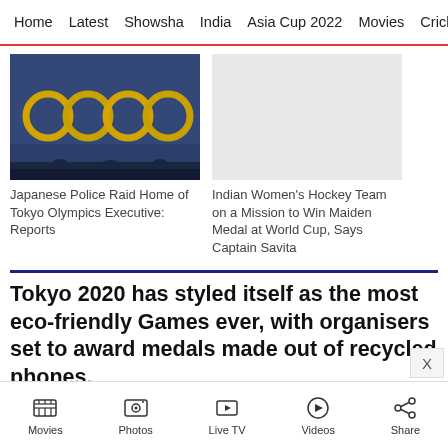Home  Latest  Showsha  India  Asia Cup 2022  Movies  Cricket
[Figure (photo): Olympic rings illuminated at night against a dark blue sky, golden rings with silhouettes in background]
Japanese Police Raid Home of Tokyo Olympics Executive: Reports
[Figure (photo): Gray placeholder image for Indian Women's Hockey Team article]
Indian Women's Hockey Team on a Mission to Win Maiden Medal at World Cup, Says Captain Savita
Tokyo 2020 has styled itself as the most eco-friendly Games ever, with organisers set to award medals made out of recycled phones.
Movies  Photos  Live TV  Videos  Share